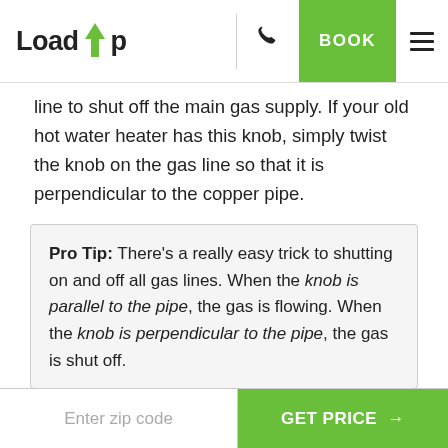LoadUp | BOOK
line to shut off the main gas supply. If your old hot water heater has this knob, simply twist the knob on the gas line so that it is perpendicular to the copper pipe.
Pro Tip: There’s a really easy trick to shutting on and off all gas lines. When the knob is parallel to the pipe, the gas is flowing. When the knob is perpendicular to the pipe, the gas is shut off.
Unfortunately, not all gas lines will have a knob for
Enter zip code | GET PRICE →